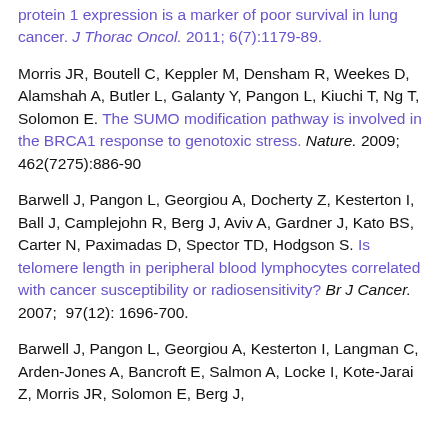protein 1 expression is a marker of poor survival in lung cancer. J Thorac Oncol. 2011; 6(7):1179-89.
Morris JR, Boutell C, Keppler M, Densham R, Weekes D, Alamshah A, Butler L, Galanty Y, Pangon L, Kiuchi T, Ng T, Solomon E. The SUMO modification pathway is involved in the BRCA1 response to genotoxic stress. Nature. 2009; 462(7275):886-90
Barwell J, Pangon L, Georgiou A, Docherty Z, Kesterton I, Ball J, Camplejohn R, Berg J, Aviv A, Gardner J, Kato BS, Carter N, Paximadas D, Spector TD, Hodgson S. Is telomere length in peripheral blood lymphocytes correlated with cancer susceptibility or radiosensitivity? Br J Cancer. 2007; 97(12): 1696-700.
Barwell J, Pangon L, Georgiou A, Kesterton I, Langman C, Arden-Jones A, Bancroft E, Salmon A, Locke I, Kote-Jarai Z, Morris JR, Solomon E, Berg J,